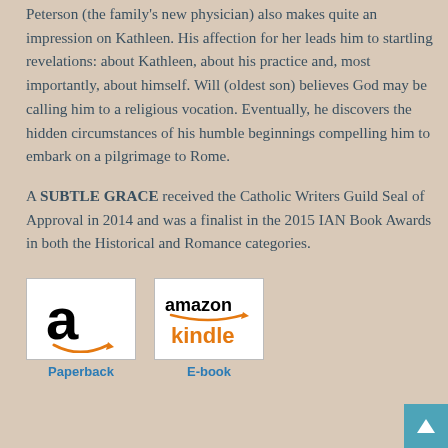Peterson (the family's new physician) also makes quite an impression on Kathleen. His affection for her leads him to startling revelations: about Kathleen, about his practice and, most importantly, about himself. Will (oldest son) believes God may be calling him to a religious vocation. Eventually, he discovers the hidden circumstances of his humble beginnings compelling him to embark on a pilgrimage to Rome.
A SUBTLE GRACE received the Catholic Writers Guild Seal of Approval in 2014 and was a finalist in the 2015 IAN Book Awards in both the Historical and Romance categories.
[Figure (logo): Amazon logo (lowercase 'a' with orange smile arrow) in a white bordered box, labeled 'Paperback' in blue below]
[Figure (logo): Amazon Kindle logo with orange 'kindle' text and orange smile arrow in a white bordered box, labeled 'E-book' in blue below]